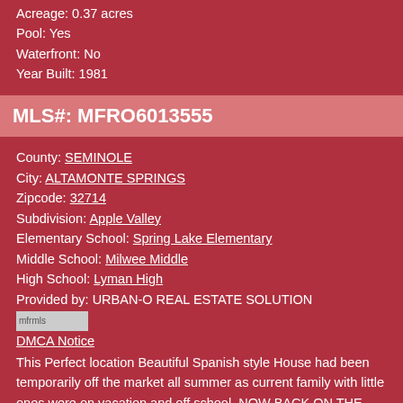Acreage: 0.37 acres
Pool: Yes
Waterfront: No
Year Built: 1981
MLS#: MFRO6013555
County: SEMINOLE
City: ALTAMONTE SPRINGS
Zipcode: 32714
Subdivision: Apple Valley
Elementary School: Spring Lake Elementary
Middle School: Milwee Middle
High School: Lyman High
Provided by: URBAN-O REAL ESTATE SOLUTION
[Figure (logo): mfrmls logo badge]
DMCA Notice
This Perfect location Beautiful Spanish style House had been temporarily off the market all summer as current family with little ones were on vacation and off school, NOW BACK ON THE MARKET and READY